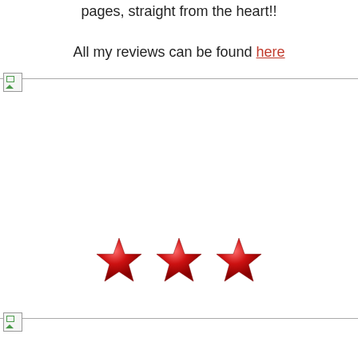pages, straight from the heart!!
All my reviews can be found here
[Figure (other): Broken image placeholder at top divider line]
[Figure (other): Three red 3D stars indicating a 3-star rating]
[Figure (other): Broken image placeholder at bottom divider line]